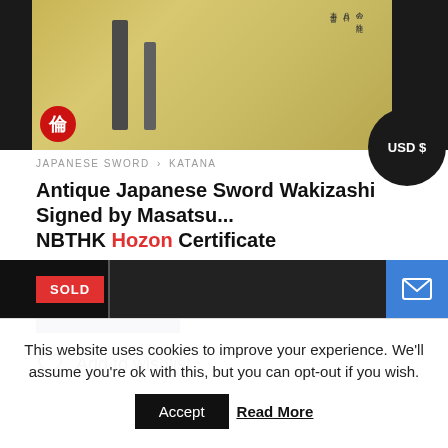[Figure (photo): Product photo showing Japanese sword Wakizashi with certificate document on yellow/gold background, red circular logo in corner, against dark background]
JAPANESE SWORD › KATANA
Antique Japanese Sword Wakizashi Signed by Masatsu... NBTHK Hozon Certificate
$3,352.83
READ MORE
Add to wishlist
[Figure (photo): Partial product image with SOLD badge, dark background, blue mail/envelope button]
This website uses cookies to improve your experience. We'll assume you're ok with this, but you can opt-out if you wish.
Accept
Read More